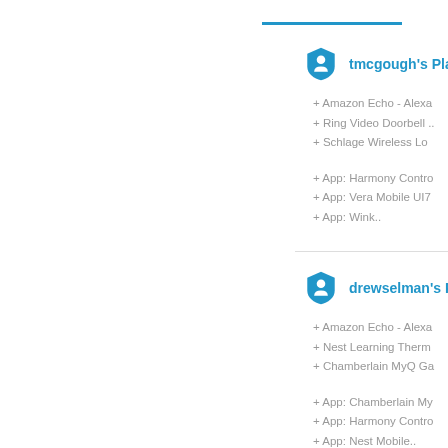tmcgough's Playbook
+ Amazon Echo - Alexa
+ Ring Video Doorbell
+ Schlage Wireless Lo
+ App: Harmony Contro
+ App: Vera Mobile UI7
+ App: Wink..
drewselman's Playbo
+ Amazon Echo - Alexa
+ Nest Learning Therm
+ Chamberlain MyQ Ga
+ App: Chamberlain My
+ App: Harmony Contro
+ App: Nest Mobile..
nhbrad's Playbook
+ Amazon Echo - Alexa